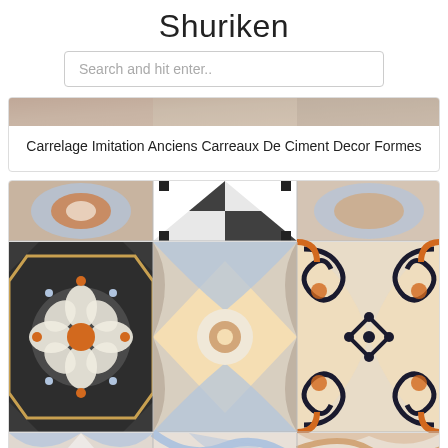Shuriken
Search and hit enter..
[Figure (photo): Card with decorative cement tile image strip at top]
Carrelage Imitation Anciens Carreaux De Ciment Decor Formes
[Figure (photo): Grid of decorative patchwork cement tiles in blue, orange, beige and brown colors with various geometric and floral patterns]
Patchwork Colors De Sant Agostino Tile Expert Fournisseur De